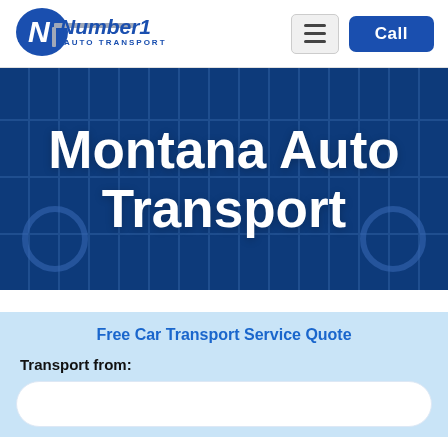[Figure (logo): Number1 Auto Transport logo with blue N graphic and 'Number1 AUTO TRANSPORT' text]
[Figure (other): Hamburger menu icon button]
[Figure (other): Blue 'Call' button]
Montana Auto Transport
Free Car Transport Service Quote
Transport from: